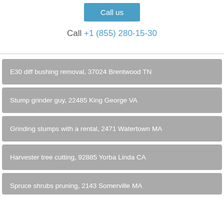[Figure (other): Blue 'Call us' button]
Call +1 (855) 280-15-30
E30 diff bushing removal, 37024 Brentwood TN
Stump grinder guy, 22485 King George VA
Grinding stumps with a rental, 2471 Watertown MA
Harvester tree cutting, 92885 Yorba Linda CA
Spruce shrubs pruning, 2143 Somerville MA